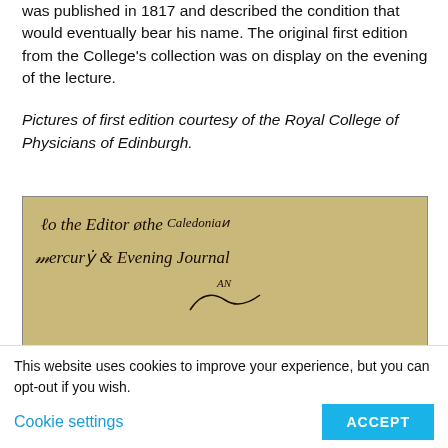was published in 1817 and described the condition that would eventually bear his name. The original first edition from the College's collection was on display on the evening of the lecture.
Pictures of first edition courtesy of the Royal College of Physicians of Edinburgh.
[Figure (photo): Old book page showing handwritten inscription at top reading roughly 'to the Editor of the Caledonian Mercury & Evening Journal', followed by 'An' and a decorative stroke, then 'ESSAY' in large bold letters, and 'ON THE' at the bottom. The page has a aged yellowish-beige background.]
This website uses cookies to improve your experience, but you can opt-out if you wish.
Cookie settings
ACCEPT